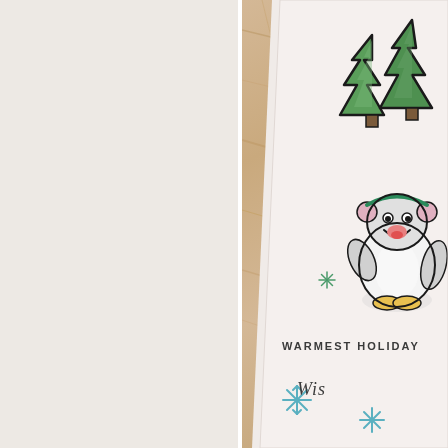[Figure (photo): A holiday greeting card with a cute cartoon penguin wearing earmuffs and a scarf, two green Christmas trees with black outlines, a small green snowflake decoration, and text reading 'WARMEST HOLIDAY' partially visible at the bottom. The card is placed on a light wooden surface. The left half of the image is a plain off-white/cream background.]